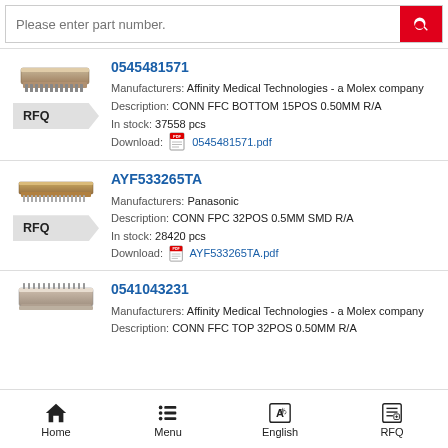Please enter part number.
0545481571 | Manufacturers: Affinity Medical Technologies - a Molex company | Description: CONN FFC BOTTOM 15POS 0.50MM R/A | In stock: 37558 pcs | Download: 0545481571.pdf
AYF533265TA | Manufacturers: Panasonic | Description: CONN FPC 32POS 0.5MM SMD R/A | In stock: 28420 pcs | Download: AYF533265TA.pdf
0541043231 | Manufacturers: Affinity Medical Technologies - a Molex company | Description: CONN FFC TOP 32POS 0.50MM R/A
Home | Menu | English | RFQ